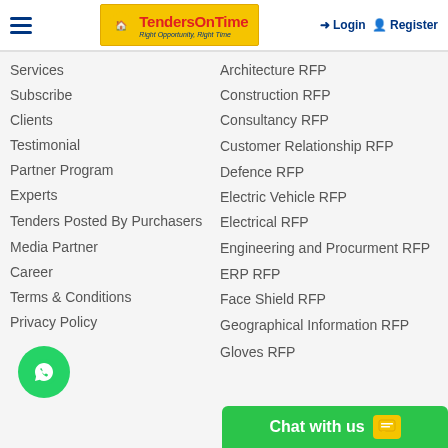TendersOnTime - Right Opportunity, Right Time | Login | Register
Services
Subscribe
Clients
Testimonial
Partner Program
Experts
Tenders Posted By Purchasers
Media Partner
Career
Terms & Conditions
Privacy Policy
Architecture RFP
Construction RFP
Consultancy RFP
Customer Relationship RFP
Defence RFP
Electric Vehicle RFP
Electrical RFP
Engineering and Procurment RFP
ERP RFP
Face Shield RFP
Geographical Information RFP
Gloves RFP
[Figure (logo): WhatsApp chat button - green circle with phone handset icon]
Chat with us